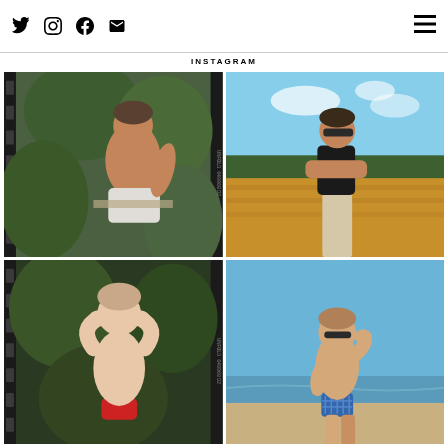Social media icons: Twitter, Instagram, Facebook, Email; Hamburger menu
INSTAGRAM
[Figure (photo): Man in white briefs showing back, outdoors with green foliage, film strip style]
[Figure (photo): Man in black t-shirt and beige trousers standing in a golden field with arms crossed]
[Figure (photo): Man in red briefs with hands behind head, outdoors with green foliage, film strip style]
[Figure (photo): Man in patterned blue swim briefs saluting, standing on a beach]